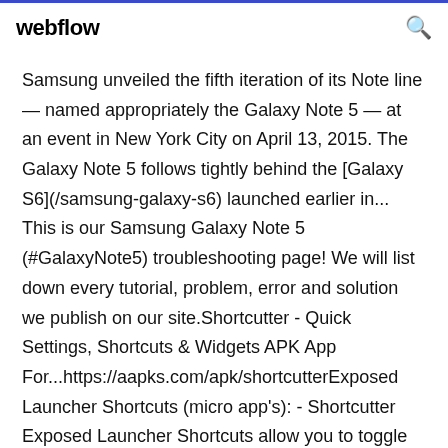webflow
Samsung unveiled the fifth iteration of its Note line — named appropriately the Galaxy Note 5 — at an event in New York City on April 13, 2015. The Galaxy Note 5 follows tightly behind the [Galaxy S6](/samsung-galaxy-s6) launched earlier in... This is our Samsung Galaxy Note 5 (#GalaxyNote5) troubleshooting page! We will list down every tutorial, problem, error and solution we publish on our site.Shortcutter - Quick Settings, Shortcuts & Widgets APK App For...https://aapks.com/apk/shortcutterExposed Launcher Shortcuts (micro app's): - Shortcutter Exposed Launcher Shortcuts allow you to toggle settings & services from your app drawer, home screen, UTC Edge Sense, Tasker